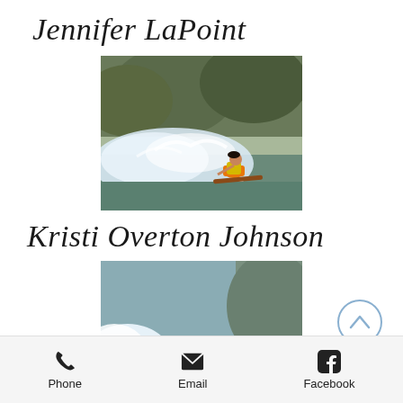Jennifer LaPoint
[Figure (photo): Woman water skiing aggressively, creating large spray of water, wearing orange gear and yellow life vest]
Kristi Overton Johnson
[Figure (photo): Person water skiing with a rope handle, leaning back on water ski, wearing white and dark shorts]
Phone  Email  Facebook